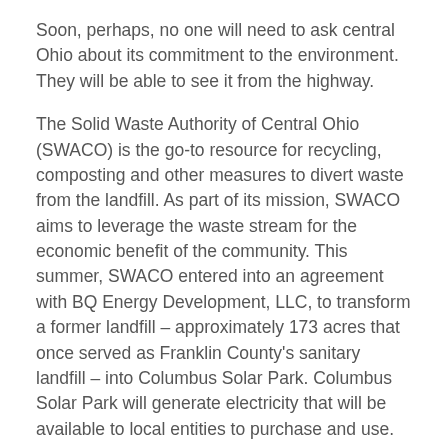Soon, perhaps, no one will need to ask central Ohio about its commitment to the environment. They will be able to see it from the highway.
The Solid Waste Authority of Central Ohio (SWACO) is the go-to resource for recycling, composting and other measures to divert waste from the landfill. As part of its mission, SWACO aims to leverage the waste stream for the economic benefit of the community. This summer, SWACO entered into an agreement with BQ Energy Development, LLC, to transform a former landfill – approximately 173 acres that once served as Franklin County's sanitary landfill – into Columbus Solar Park. Columbus Solar Park will generate electricity that will be available to local entities to purchase and use.
Beyond the significant economic benefits of a